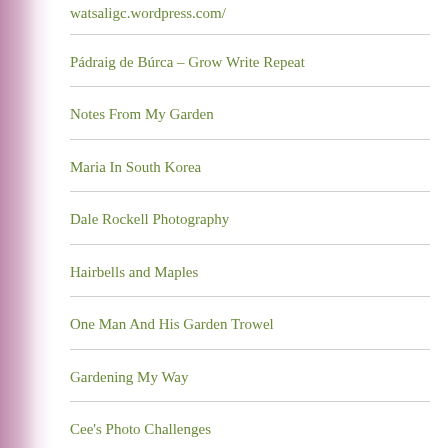watsaligc.wordpress.com/
Pádraig de Búrca – Grow Write Repeat
Notes From My Garden
Maria In South Korea
Dale Rockell Photography
Hairbells and Maples
One Man And His Garden Trowel
Gardening My Way
Cee's Photo Challenges
Eileen's Tiny Welsh Garden